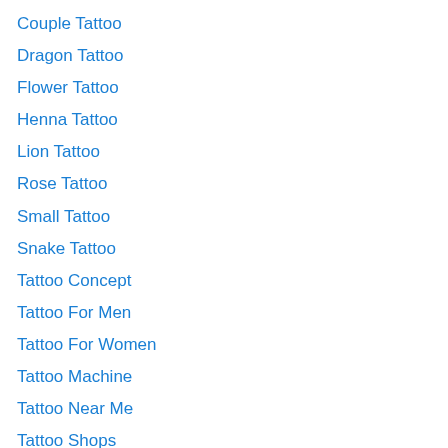Couple Tattoo
Dragon Tattoo
Flower Tattoo
Henna Tattoo
Lion Tattoo
Rose Tattoo
Small Tattoo
Snake Tattoo
Tattoo Concept
Tattoo For Men
Tattoo For Women
Tattoo Machine
Tattoo Near Me
Tattoo Shops
Tattoo Supplies